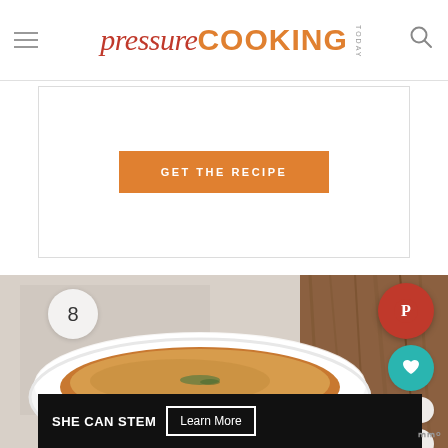pressure COOKING TODAY
[Figure (other): GET THE RECIPE button on white card with border]
[Figure (photo): Close-up photo of a French onion soup in a white bowl with melted cheese and herbs on top, wooden background]
[Figure (infographic): Social sharing badges: number 8 circle, Pinterest red circle, teal heart circle, count 14, share icon]
[Figure (infographic): SHE CAN STEM advertisement banner with Learn More button]